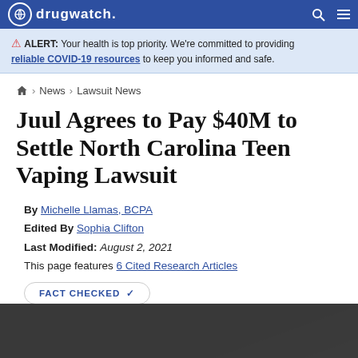drugwatch.
ALERT: Your health is top priority. We're committed to providing reliable COVID-19 resources to keep you informed and safe.
Home > News > Lawsuit News
Juul Agrees to Pay $40M to Settle North Carolina Teen Vaping Lawsuit
By Michelle Llamas, BCPA
Edited By Sophia Clifton
Last Modified: August 2, 2021
This page features 6 Cited Research Articles
FACT CHECKED ✓
[Figure (photo): Dark background image, partially visible, appearing to show a vaping device]